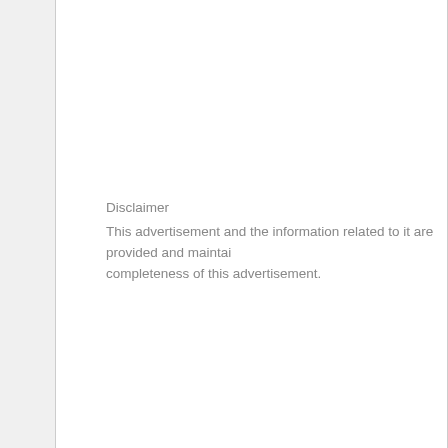Disclaimer
This advertisement and the information related to it are provided and maintai... completeness of this advertisement.
MYR 75
[Figure (illustration): Eye/views icon followed by '631 clicks' text]
631 clicks